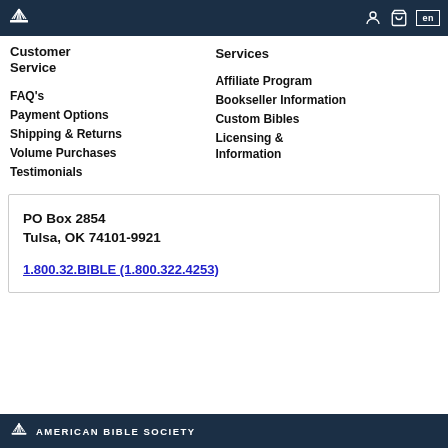American Bible Society — navigation bar with logo, user icon, cart icon, language selector (en)
Customer Service
FAQ's
Payment Options
Shipping & Returns
Volume Purchases
Testimonials
Services
Affiliate Program
Bookseller Information
Custom Bibles
Licensing & Information
PO Box 2854
Tulsa, OK 74101-9921
1.800.32.BIBLE (1.800.322.4253)
AMERICAN BIBLE SOCIETY